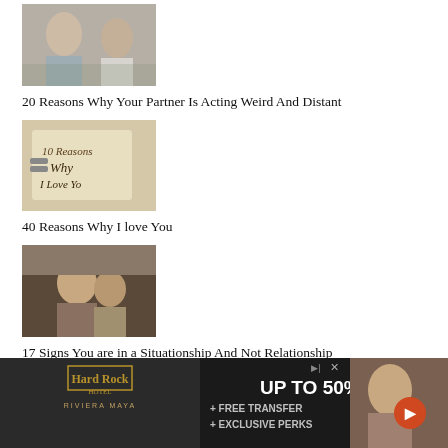[Figure (photo): A couple facing each other, woman with blonde hair looking at man]
20 Reasons Why Your Partner Is Acting Weird And Distant
[Figure (photo): A handwritten note reading '10 Reasons Why I Love You']
40 Reasons Why I love You
[Figure (photo): A couple sitting closely together on a couch, smiling]
17 Signs You are in a Situationship And Not Relationship
[Figure (advertisement): Hard Rock Hotel Riviera Maya ad: UP TO 50% + FREE TRANSFER + EXCLUSIVE PERKS]